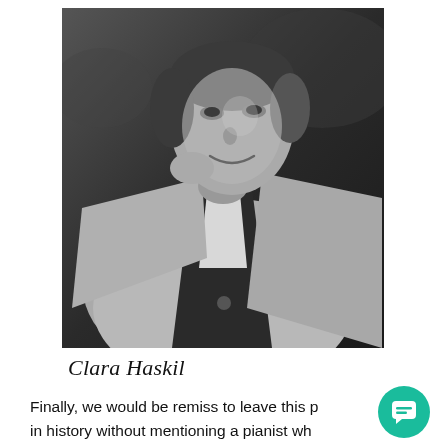[Figure (photo): Black and white photograph of Clara Haskil, a woman smiling, wearing a light-colored coat over a dark jacket with a white shirt, her hand raised near her chin.]
Clara Haskil
Finally, we would be remiss to leave this p[lace] in history without mentioning a pianist wh[o] struggled with and ultimately overcame her